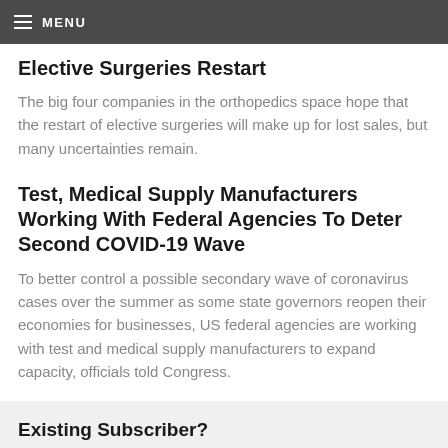MENU
Elective Surgeries Restart
The big four companies in the orthopedics space hope that the restart of elective surgeries will make up for lost sales, but many uncertainties remain.
Test, Medical Supply Manufacturers Working With Federal Agencies To Deter Second COVID-19 Wave
To better control a possible secondary wave of coronavirus cases over the summer as some state governors reopen their economies for businesses, US federal agencies are working with test and medical supply manufacturers to expand capacity, officials told Congress.
Existing Subscriber?
Sign in to continue reading.
SIGN IN